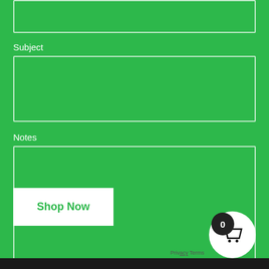[Figure (screenshot): Top portion of a green web form with a partially visible input field at the top]
Subject
[Figure (screenshot): Empty subject input text box with white border on green background]
Notes
[Figure (screenshot): Empty notes textarea input box with white border on green background]
Shop Now
[Figure (screenshot): Shopping cart icon in white circle with badge showing 0]
Privacy Terms